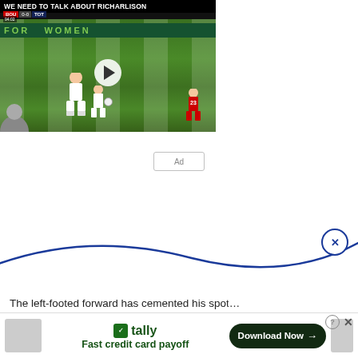[Figure (screenshot): Video thumbnail showing a soccer/football match with title 'We Need To Talk About Richarlison'. Players in white and red jerseys on a green pitch, with a play button overlay.]
[Figure (other): Ad placeholder box with text 'Ad' in center]
The left-footed forward has cemented his spo…
[Figure (screenshot): Tally app advertisement banner at bottom: Tally logo, 'Fast credit card payoff' tagline, and 'Download Now' button with arrow. Has close (X) and question mark controls.]